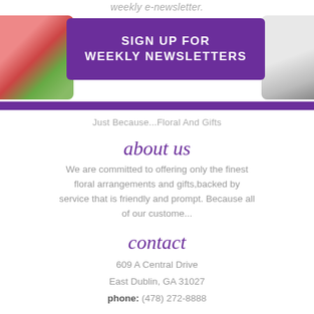weekly e-newsletter.
[Figure (infographic): Purple button reading SIGN UP FOR WEEKLY NEWSLETTERS with flowers on left and laptop on right]
Just Because...Floral And Gifts
about us
We are committed to offering only the finest floral arrangements and gifts,backed by service that is friendly and prompt. Because all of our custome...
contact
609 A Central Drive
East Dublin, GA 31027
phone: (478) 272-8888